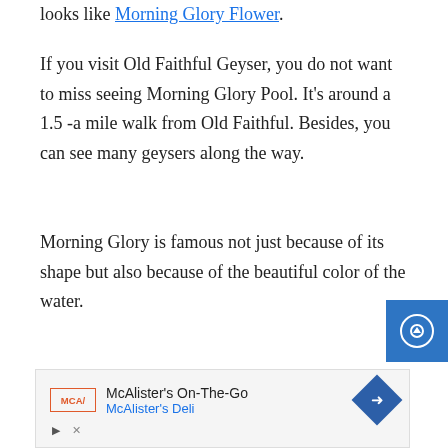looks like Morning Glory Flower.
If you visit Old Faithful Geyser, you do not want to miss seeing Morning Glory Pool. It's around a 1.5 -a mile walk from Old Faithful. Besides, you can see many geysers along the way.
Morning Glory is famous not just because of its shape but also because of the beautiful color of the water.
Morning Glory has undoubtedly changed
[Figure (other): McAlister's On-The-Go McAlister's Deli advertisement banner with logo, text and directional arrow icon]